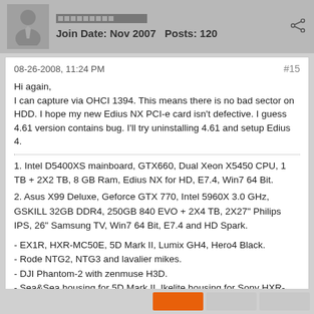Join Date: Nov 2007   Posts: 120
08-26-2008, 11:24 PM
#15
Hi again,
I can capture via OHCI 1394. This means there is no bad sector on HDD. I hope my new Edius NX PCI-e card isn't defective. I guess 4.61 version contains bug. I'll try uninstalling 4.61 and setup Edius 4.
1. Intel D5400XS mainboard, GTX660, Dual Xeon X5450 CPU, 1 TB + 2X2 TB, 8 GB Ram, Edius NX for HD, E7.4, Win7 64 Bit.
2. Asus X99 Deluxe, Geforce GTX 770, Intel 5960X 3.0 GHz, GSKILL 32GB DDR4, 250GB 840 EVO + 2X4 TB, 2X27" Philips IPS, 26" Samsung TV, Win7 64 Bit, E7.4 and HD Spark.
- EX1R, HXR-MC50E, 5D Mark II, Lumix GH4, Hero4 Black.
- Rode NTG2, NTG3 and lavalier mikes.
- DJI Phantom-2 with zenmuse H3D.
- Sea&Sea housing for 5D Mark II, Ikelite housing for Sony HXR-MC50E.